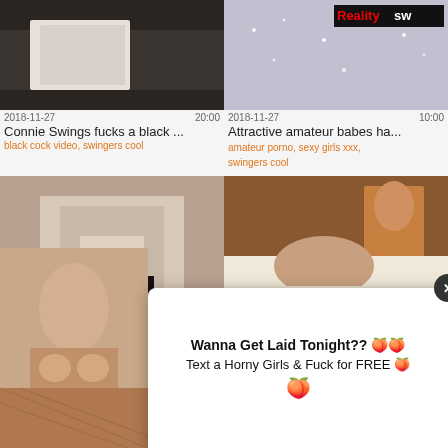[Figure (screenshot): Video thumbnail - dark bedroom scene]
2018-11-27	20:00
Connie Swings fucks a black ...
black cock video, swingers cool
[Figure (screenshot): Video thumbnail - glitter/sparkle background with RealitySw logo]
2018-11-27	10:00
Attractive amateur babes ha...
amateur porno, sexy girls xxx, swingers cool
[Figure (screenshot): Video thumbnail - close up skin]
2018-11-27	0:28
Anjo Negro 23 cm com tudo...
sv...
[Figure (screenshot): Video thumbnail - hotel room threesome]
2018-11-27	15:00
Sexy MILF wife hotel threes...
[Figure (screenshot): Popup ad with woman image]
Wanna Get Laid Tonight?? 🍑
Text a Horny Girls & Fuck for FREE 🍑
🍑